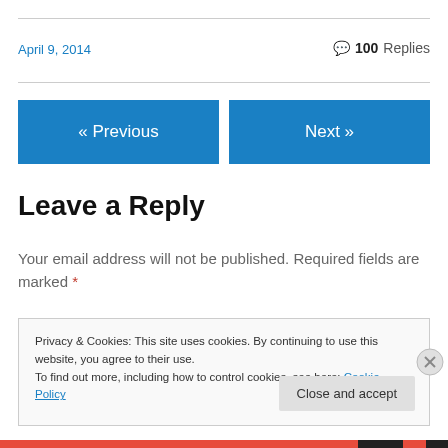April 9, 2014
💬 100 Replies
« Previous
Next »
Leave a Reply
Your email address will not be published. Required fields are marked *
Privacy & Cookies: This site uses cookies. By continuing to use this website, you agree to their use. To find out more, including how to control cookies, see here: Cookie Policy
Close and accept